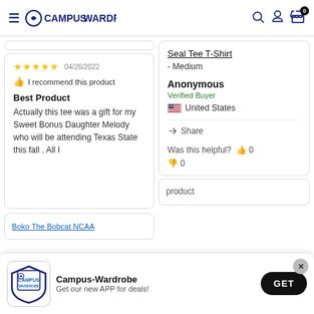Campus Wardrobe header with navigation icons and cart (0 items)
★★★★★  04/26/2022
👍 I recommend this product
Best Product
Actually this tee was a gift for my Sweet Bonus Daughter Melody who will be attending Texas State this fall . All I
Seal Tee T-Shirt
- Medium
Anonymous
Verified Buyer
United States
Share
Was this helpful? 👍 0  👎 0
Boko The Bobcat NCAA
product
[Figure (screenshot): Campus Wardrobe app install banner with logo, text 'Campus-Wardrobe: Get our new APP for deals!' and GET button]